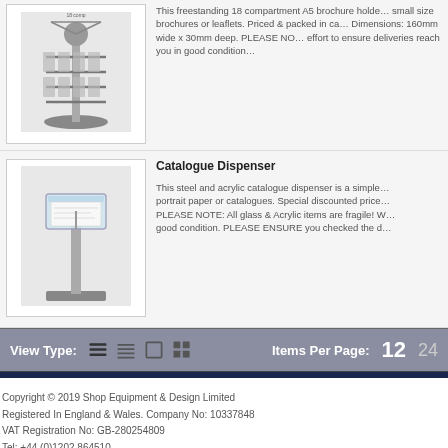[Figure (photo): Freestanding 18 compartment A5 brochure holder product image (partial, top cropped)]
This freestanding 18 compartment A5 brochure holder... small size brochures or leaflets. Priced & packed in ca... Dimensions: 160mm wide x 30mm deep. PLEASE NO... effort to ensure deliveries reach you in good condition...
[Figure (photo): Catalogue dispenser - steel and acrylic floor-standing display unit]
Catalogue Dispenser
This steel and acrylic catalogue dispenser is a simple... portrait paper or catalogues. Special discounted price... PLEASE NOTE: All glass & Acrylic items are fragile! W... good condition. PLEASE ENSURE you checked the d...
View Type:    Items Per Page:  12  24
Copyright © 2019 Shop Equipment & Design Limited
Registered In England & Wales. Company No: 10337848
VAT Registration No: GB-280254809
Tel: +44 (0)1202 864510
Fax: +44 (0)1223 327859
Email: sales@shopequip.co.uk